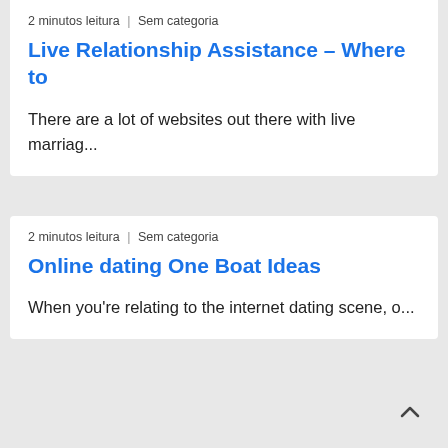2 minutos leitura | Sem categoria
Live Relationship Assistance – Where to
There are a lot of websites out there with live marriag...
2 minutos leitura | Sem categoria
Online dating One Boat Ideas
When you're relating to the internet dating scene, o...